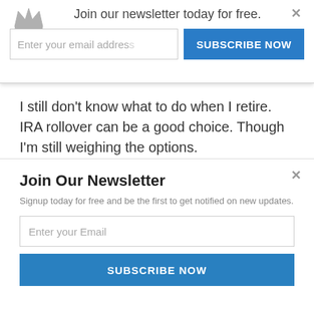Join our newsletter today for free.
Enter your email address
SUBSCRIBE NOW
I still don't know what to do when I retire. IRA rollover can be a good choice. Though I'm still weighing the options.
Reply
Join Our Newsletter
Signup today for free and be the first to get notified on new updates.
Enter your Email
SUBSCRIBE NOW